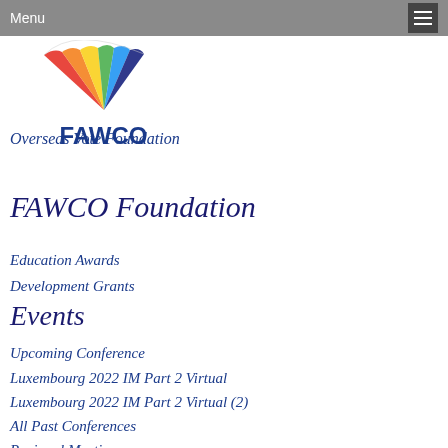Menu
[Figure (logo): FAWCO logo with colorful fan/wing design and FAWCO text]
Overseas Vote Foundation
FAWCO Foundation
Education Awards
Development Grants
Events
Upcoming Conference
Luxembourg 2022 IM Part 2 Virtual
Luxembourg 2022 IM Part 2 Virtual (2)
All Past Conferences
Regional Meetings